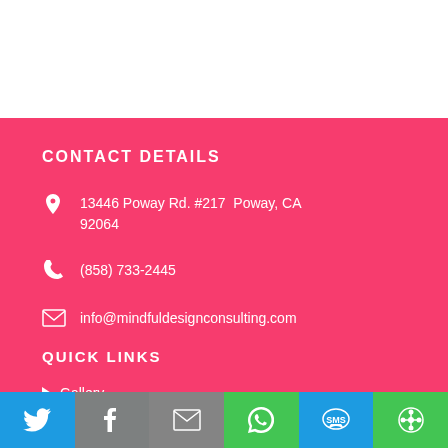CONTACT DETAILS
13446 Poway Rd. #217  Poway, CA 92064
(858) 733-2445
info@mindfuldesignconsulting.com
QUICK LINKS
Gallery
[Figure (infographic): Social sharing toolbar with Twitter, Facebook, Email, WhatsApp, SMS, and share icons on colored backgrounds]